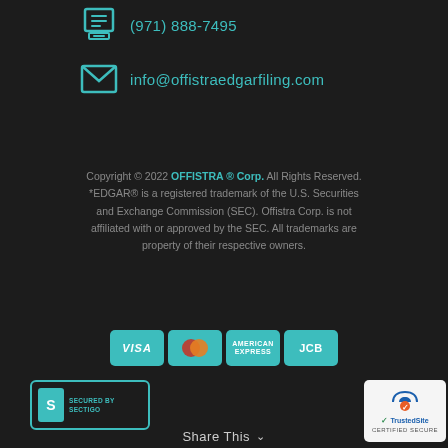(971) 888-7495
info@offistraedgarfiling.com
Copyright © 2022 OFFISTRA ® Corp. All Rights Reserved. *EDGAR® is a registered trademark of the U.S. Securities and Exchange Commission (SEC). Offistra Corp. is not affiliated with or approved by the SEC. All trademarks are property of their respective owners.
[Figure (logo): Payment method icons: VISA, Mastercard, American Express, JCB — teal colored cards]
[Figure (logo): Secured by Sectigo badge — teal border with S logo]
[Figure (logo): TrustedSite Certified Secure badge — white background with blue/green logo]
Share This